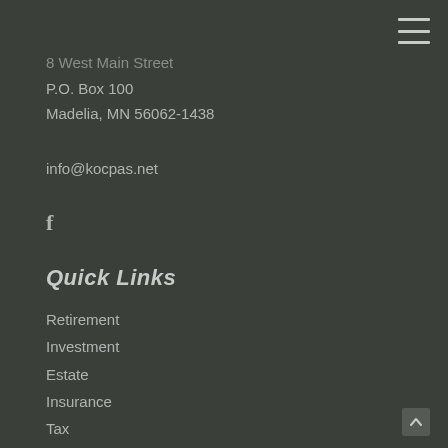menu icon (hamburger)
8 West Main Street
P.O. Box 100
Madelia, MN 56062-1438
info@kocpas.net
[Figure (logo): Facebook icon (f)]
Quick Links
Retirement
Investment
Estate
Insurance
Tax
Money
Lifestyle
All Articles